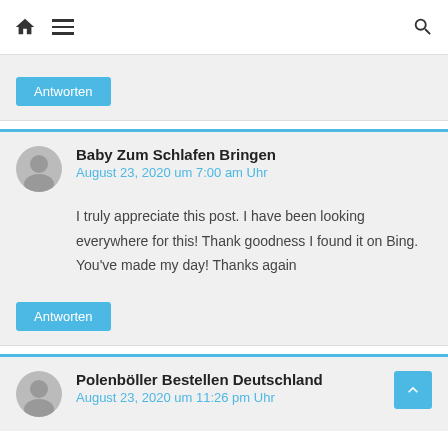Home Menu Search
Antworten
Baby Zum Schlafen Bringen
August 23, 2020 um 7:00 am Uhr
I truly appreciate this post. I have been looking everywhere for this! Thank goodness I found it on Bing. You've made my day! Thanks again
Antworten
Polenböller Bestellen Deutschland
August 23, 2020 um 11:26 pm Uhr